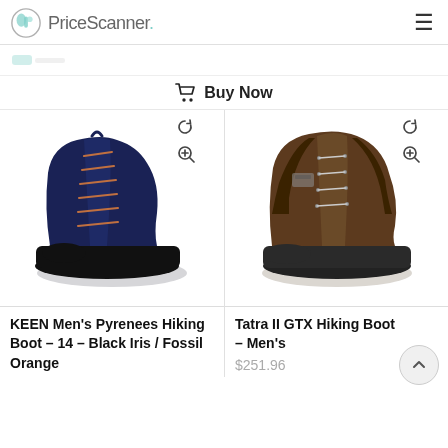PriceScanner.
Buy Now
[Figure (photo): KEEN Men's Pyrenees Hiking Boot in Black Iris / Fossil Orange - navy blue leather hiking boot with orange laces]
[Figure (photo): Tatra II GTX Hiking Boot - Men's - brown leather hiking boot]
KEEN Men’s Pyrenees Hiking Boot – 14 – Black Iris / Fossil Orange
Tatra II GTX Hiking Boot – Men’s
$251.96